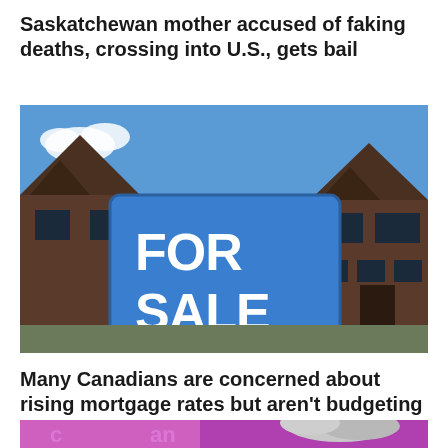Saskatchewan mother accused of faking deaths, crossing into U.S., gets bail
[Figure (photo): A blue 'FOR SALE' real estate sign in front of a dark brick two-storey house against a blue sky]
Many Canadians are concerned about rising mortgage rates but aren't budgeting for them: survey
[Figure (photo): Partial bottom image showing a pink and purple background with text beginning with 'c an' and the top of a person's grey-haired head]